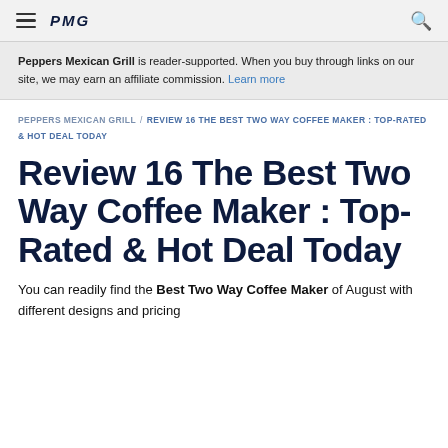PMG
Peppers Mexican Grill is reader-supported. When you buy through links on our site, we may earn an affiliate commission. Learn more
PEPPERS MEXICAN GRILL / REVIEW 16 THE BEST TWO WAY COFFEE MAKER : TOP-RATED & HOT DEAL TODAY
Review 16 The Best Two Way Coffee Maker : Top-Rated & Hot Deal Today
You can readily find the Best Two Way Coffee Maker of August with different designs and pricing